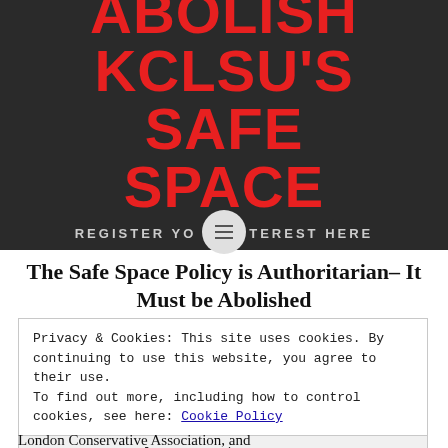ABOLISH KCLSU'S SAFE SPACE POLICY
REGISTER YOUR INTEREST HERE
The Safe Space Policy is Authoritarian– It Must be Abolished
Privacy & Cookies: This site uses cookies. By continuing to use this website, you agree to their use.
To find out more, including how to control cookies, see here: Cookie Policy
Close and accept
London Conservative Association, and